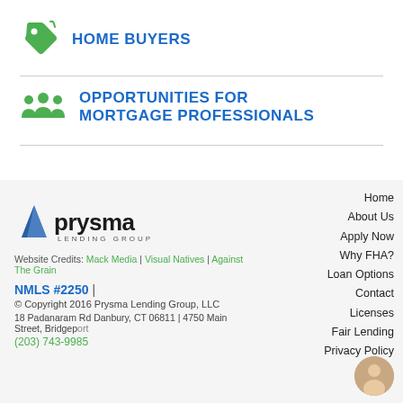HOME BUYERS
OPPORTUNITIES FOR MORTGAGE PROFESSIONALS
[Figure (logo): Prysma Lending Group logo with blue pyramid and text]
Website Credits: Mack Media | Visual Natives | Against The Grain
NMLS #2250 |
© Copyright 2016 Prysma Lending Group, LLC
18 Padanaram Rd Danbury, CT 06811 | 4750 Main Street, Bridgeport
(203) 743-9985
Home
About Us
Apply Now
Why FHA?
Loan Options
Contact
Licenses
Fair Lending
Privacy Policy